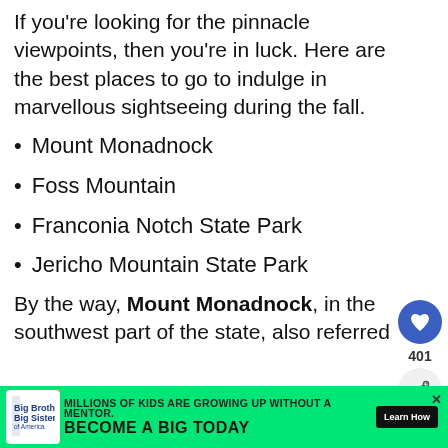If you’re looking for the pinnacle viewpoints, then you’re in luck. Here are the best places to go to indulge in marvellous sightseeing during the fall.
Mount Monadnock
Foss Mountain
Franconia Notch State Park
Jericho Mountain State Park
By the way, Mount Monadnock, in the southwest part of the state, also referred to
[Figure (other): Social sharing sidebar with heart/like button showing 401 likes, and a share button]
[Figure (other): What's Next panel: Rome: the BEST tip for... with a circular thumbnail]
[Figure (other): Big Brothers Big Sisters advertisement banner with green background: MILLIONS OF KIDS ARE GROWING UP WITHOUT A MENTOR. BECOME A BIG TODAY. Learn How.]